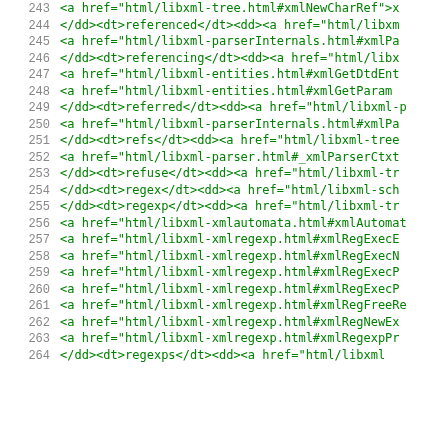Source code listing, lines 243-264, showing HTML anchor tags referencing libxml documentation
243   <a href="html/libxml-tree.html#xmlNewCharRef">x
244   </dd><dt>referenced</dt><dd><a href="html/libxm
245   <a href="html/libxml-parserInternals.html#xmlPa
246   </dd><dt>referencing</dt><dd><a href="html/libx
247   <a href="html/libxml-entities.html#xmlGetDtdEnt
248   <a href="html/libxml-entities.html#xmlGetParam
249   </dd><dt>referred</dt><dd><a href="html/libxml-
250   <a href="html/libxml-parserInternals.html#xmlPa
251   </dd><dt>refs</dt><dd><a href="html/libxml-tree
252   <a href="html/libxml-parser.html#_xmlParserCtxt
253   </dd><dt>refuse</dt><dd><a href="html/libxml-tr
254   </dd><dt>regex</dt><dd><a href="html/libxml-sch
255   </dd><dt>regexp</dt><dd><a href="html/libxml-tr
256   <a href="html/libxml-xmlautomata.html#xmlAutomat
257   <a href="html/libxml-xmlregexp.html#xmlRegExecE
258   <a href="html/libxml-xmlregexp.html#xmlRegExecN
259   <a href="html/libxml-xmlregexp.html#xmlRegExecP
260   <a href="html/libxml-xmlregexp.html#xmlRegExecP
261   <a href="html/libxml-xmlregexp.html#xmlRegFreeR
262   <a href="html/libxml-xmlregexp.html#xmlRegNewEx
263   <a href="html/libxml-xmlregexp.html#xmlRegexpPr
264   </dd><dt>regexps</dt><dd><a href="html/libxml